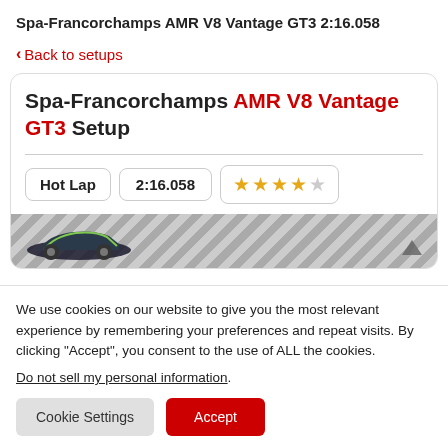Spa-Francorchamps AMR V8 Vantage GT3 2:16.058
< Back to setups
Spa-Francorchamps AMR V8 Vantage GT3 Setup
| Hot Lap | 2:16.058 | ★★★★☆ |
| --- | --- | --- |
[Figure (photo): Diagonal striped banner with partial car image visible at bottom of card]
We use cookies on our website to give you the most relevant experience by remembering your preferences and repeat visits. By clicking “Accept”, you consent to the use of ALL the cookies.
Do not sell my personal information.
Cookie Settings  Accept